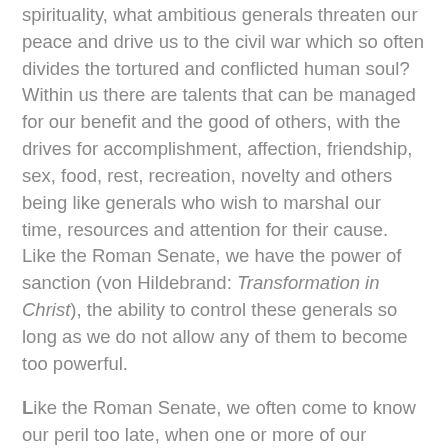spirituality, what ambitious generals threaten our peace and drive us to the civil war which so often divides the tortured and conflicted human soul? Within us there are talents that can be managed for our benefit and the good of others, with the drives for accomplishment, affection, friendship, sex, food, rest, recreation, novelty and others being like generals who wish to marshal our time, resources and attention for their cause. Like the Roman Senate, we have the power of sanction (von Hildebrand: Transformation in Christ), the ability to control these generals so long as we do not allow any of them to become too powerful.
Like the Roman Senate, we often come to know our peril too late, when one or more of our passions has already crossed the Rubicon and our freedom has fallen with us left "“to find ourselves dishonourable graves”" (Act I Scene 2). Just as the Senate was driven to extreme and undesirable measures toward liberation from a tyrant, so we then must deprive ourselves of pleasures and endure want as means toward liberation from the drives and passions that impinge upon our freedom and make us less than we would wish, and much